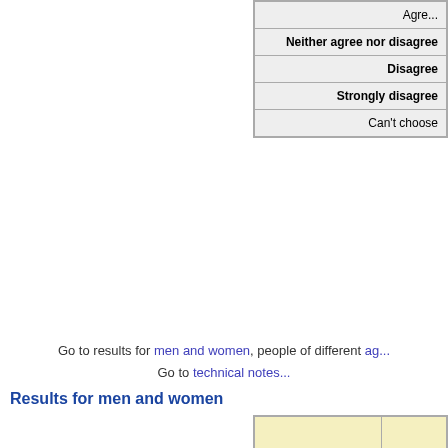| Response |
| --- |
| Agree |
| Neither agree nor disagree |
| Disagree |
| Strongly disagree |
| Can't choose |
Go to results for men and women, people of different ages... Go to technical notes...
Results for men and women
|  | M... |
| --- | --- |
| Strongly agree | 2 |
| Agree | 4 |
| Neither agree nor disagree | 1 |